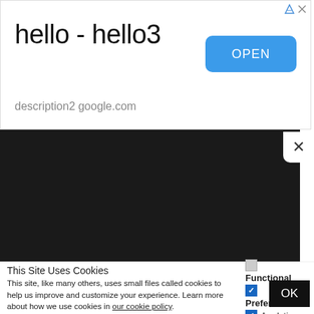hello - hello3
description2 google.com
[Figure (screenshot): Black video/content area with X close button in top right corner]
This Site Uses Cookies
This site, like many others, uses small files called cookies to help us improve and customize your experience. Learn more about how we use cookies in our cookie policy.
Functional
Preferences
Analytics
Marketing